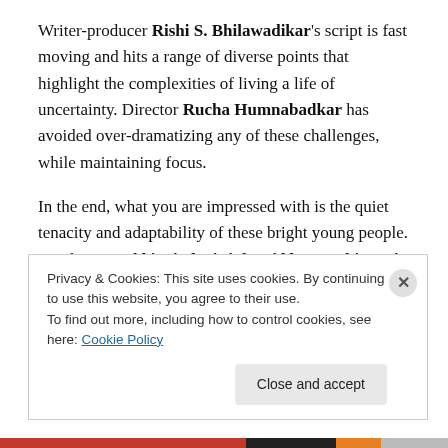Writer-producer Rishi S. Bhilawadikar's script is fast moving and hits a range of diverse points that highlight the complexities of living a life of uncertainty. Director Rucha Humnabadkar has avoided over-dramatizing any of these challenges, while maintaining focus.
In the end, what you are impressed with is the quiet tenacity and adaptability of these bright young people. Vivek says, Akhir zindagi sirf umiddo pe nahi, apni nazariya pe bhi to chalti hai (after all, life doesn't just unfold on the basis of hope, but also unravels as per
Privacy & Cookies: This site uses cookies. By continuing to use this website, you agree to their use.
To find out more, including how to control cookies, see here: Cookie Policy